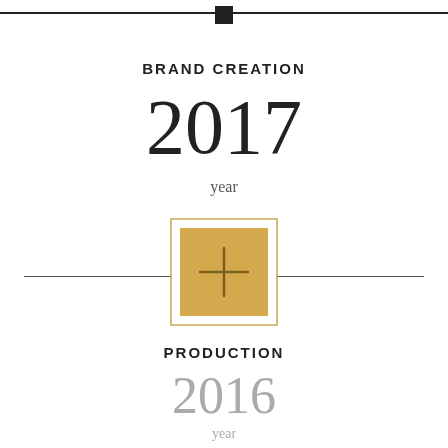BRAND CREATION
2017
year
[Figure (infographic): Golden/amber filled square with a plus sign inside, enclosed in a thin golden square border, centered between two horizontal divider lines]
PRODUCTION
2016
year